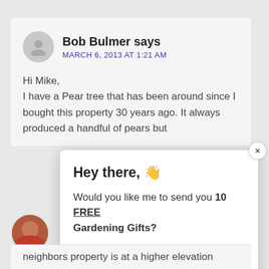Bob Bulmer says
MARCH 6, 2013 AT 1:21 AM
Hi Mike,
I have a Pear tree that has been around since I bought this property 30 years ago. It always produced a handful of pears but
[Figure (other): Popup dialog with waving hand emoji. Title: 'Hey there, 👋'. Body: 'Would you like me to send you 10 FREE Gardening Gifts?' with a close X button and an orange button labeled 'YES, PLEASE!']
neighbors property is at a higher elevation